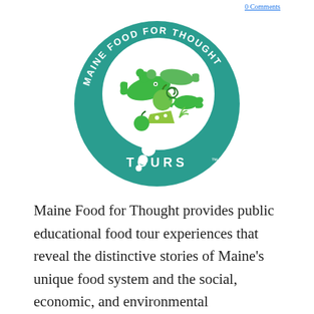0 Comments
[Figure (logo): Maine Food for Thought Tours circular logo with teal background, white inner circle containing green illustrated food items (fish, lobster, apple, vegetables, cheese), and text 'MAINE FOOD FOR THOUGHT' around the top arc and 'TOURS' at the bottom]
Maine Food for Thought provides public educational food tour experiences that reveal the distinctive stories of Maine's unique food system and the social, economic, and environmental connections.  This year, they have developed opportunities to partner with Maine businesses to create programs for the community...